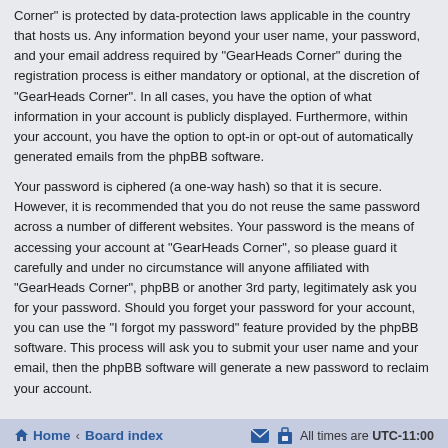Corner" is protected by data-protection laws applicable in the country that hosts us. Any information beyond your user name, your password, and your email address required by "GearHeads Corner" during the registration process is either mandatory or optional, at the discretion of "GearHeads Corner". In all cases, you have the option of what information in your account is publicly displayed. Furthermore, within your account, you have the option to opt-in or opt-out of automatically generated emails from the phpBB software.
Your password is ciphered (a one-way hash) so that it is secure. However, it is recommended that you do not reuse the same password across a number of different websites. Your password is the means of accessing your account at “GearHeads Corner”, so please guard it carefully and under no circumstance will anyone affiliated with “GearHeads Corner”, phpBB or another 3rd party, legitimately ask you for your password. Should you forget your password for your account, you can use the “I forgot my password” feature provided by the phpBB software. This process will ask you to submit your user name and your email, then the phpBB software will generate a new password to reclaim your account.
Home · Board index | All times are UTC-11:00
Powered by phpBB® Forum Software © phpBB Limited
Privacy | Terms
Time: 0.746s | Queries: 6